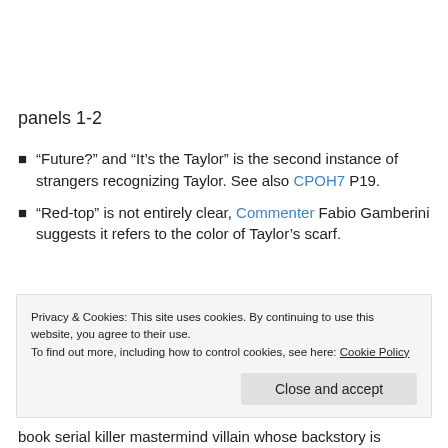panels 1-2
“Future?” and “It’s the Taylor” is the second instance of strangers recognizing Taylor. See also CPOH7 P19.
“Red-top” is not entirely clear, Commenter Fabio Gamberini suggests it refers to the color of Taylor’s scarf.
Privacy & Cookies: This site uses cookies. By continuing to use this website, you agree to their use. To find out more, including how to control cookies, see here: Cookie Policy
book serial killer mastermind villain whose backstory is